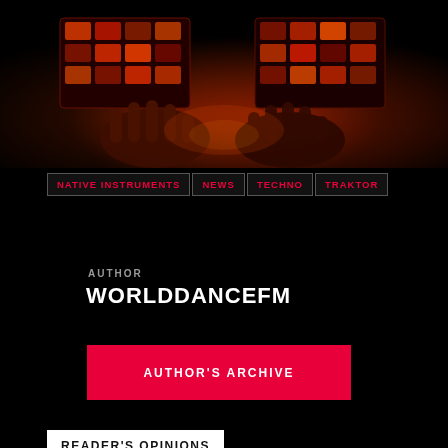[Figure (photo): Hands on illuminated DJ controller/mixer equipment bathed in red and orange light, dark background]
NATIVE INSTRUMENTS
NEWS
TECHNO
TRAKTOR
AUTHOR
WORLDDANCEFM
AUTHOR'S ARCHIVE
READER'S OPINIONS
[Figure (infographic): Bottom navigation bar with three icons: search (magnifying glass), layers/pages (overlapping squares), and play (triangle arrow), separated by vertical lines]